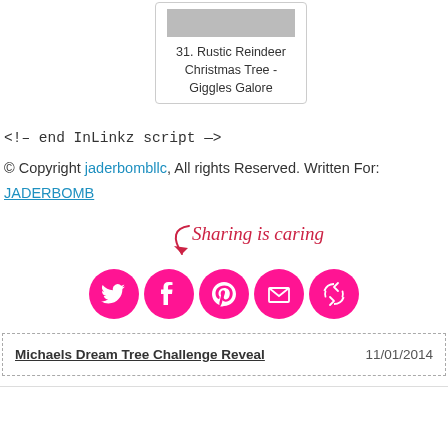[Figure (other): Card with image thumbnail and title: 31. Rustic Reindeer Christmas Tree - Giggles Galore]
31. Rustic Reindeer Christmas Tree - Giggles Galore
<!– end InLinkz script —>
© Copyright jaderbombllc, All rights reserved. Written For: JADERBOMB
[Figure (infographic): Sharing is caring with social share icons: Twitter, Facebook, Pinterest, Email, and another share button — all in pink circles with a red arrow and cursive text]
Michaels Dream Tree Challenge Reveal    11/01/2014